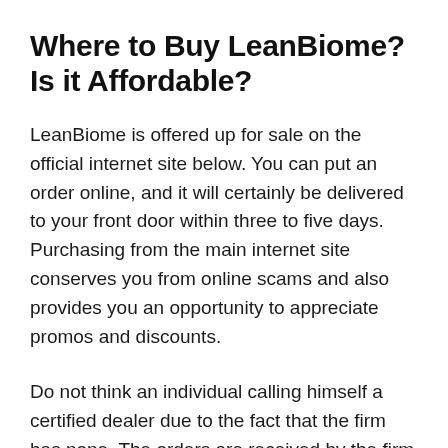Where to Buy LeanBiome? Is it Affordable?
LeanBiome is offered up for sale on the official internet site below. You can put an order online, and it will certainly be delivered to your front door within three to five days. Purchasing from the main internet site conserves you from online scams and also provides you an opportunity to appreciate promos and discounts.
Do not think an individual calling himself a certified dealer due to the fact that the firm has none. The orders are received by the firm personnel and also sent off from the storehouse straight.